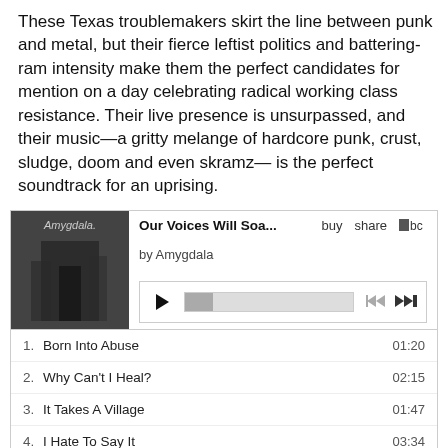These Texas troublemakers skirt the line between punk and metal, but their fierce leftist politics and battering-ram intensity make them the perfect candidates for mention on a day celebrating radical working class resistance. Their live presence is unsurpassed, and their music—a gritty melange of hardcore punk, crust, sludge, doom and even skramz— is the perfect soundtrack for an uprising.
[Figure (screenshot): Bandcamp music player widget showing album 'Our Voices Will Soa...' by Amygdala with album art, play controls, and track listing]